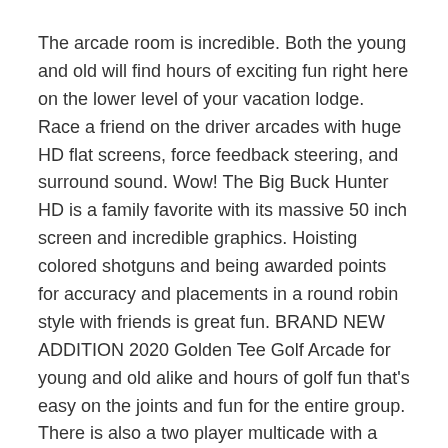The arcade room is incredible. Both the young and old will find hours of exciting fun right here on the lower level of your vacation lodge. Race a friend on the driver arcades with huge HD flat screens, force feedback steering, and surround sound. Wow! The Big Buck Hunter HD is a family favorite with its massive 50 inch screen and incredible graphics. Hoisting colored shotguns and being awarded points for accuracy and placements in a round robin style with friends is great fun. BRAND NEW ADDITION 2020 Golden Tee Golf Arcade for young and old alike and hours of golf fun that's easy on the joints and fun for the entire group. There is also a two player multicade with a giant flat screen monitor for playing all the classics like Pac-man and Galactica.
In the same room is the beautiful 8 foot, slate pool table which will provide you with hours of competition and fun. Watch the big game on the flat screen while you shoot a round of pool or step outside to the covered deck and play a round of cornhole or watch the kids prepare a meal in their